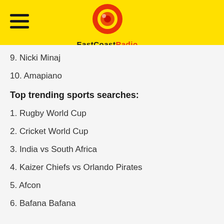[Figure (logo): EastCoastRadio logo with hamburger menu on yellow header background]
9. Nicki Minaj
10. Amapiano
Top trending sports searches:
1. Rugby World Cup
2. Cricket World Cup
3. India vs South Africa
4. Kaizer Chiefs vs Orlando Pirates
5. Afcon
6. Bafana Bafana